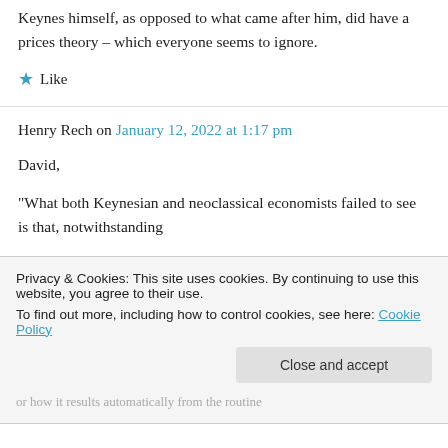Keynes himself, as opposed to what came after him, did have a prices theory – which everyone seems to ignore.
★ Like
Henry Rech on January 12, 2022 at 1:17 pm
David,
“What both Keynesian and neoclassical economists failed to see is that, notwithstanding
Privacy & Cookies: This site uses cookies. By continuing to use this website, you agree to their use.
To find out more, including how to control cookies, see here: Cookie Policy
Close and accept
or how it results automatically from the routine